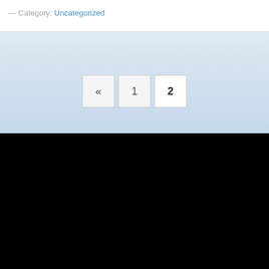— Category: Uncategorized
« 1 2
Menu
Home
About ▾
History
Services
Why Fly with Us?
Charter Flights ▾
Why Charter a Flight?